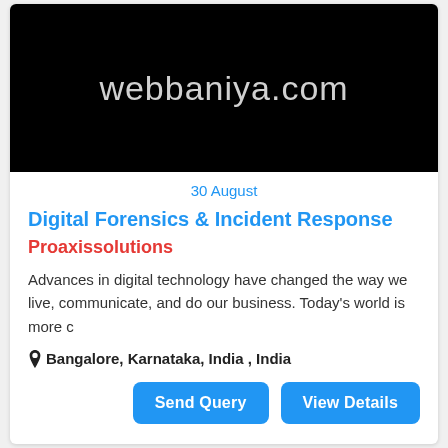[Figure (logo): Black background with text 'webbaniya.com' in light gray]
30 August
Digital Forensics & Incident Response
Proaxissolutions
Advances in digital technology have changed the way we live, communicate, and do our business. Today's world is more c
Bangalore, Karnataka, India , India